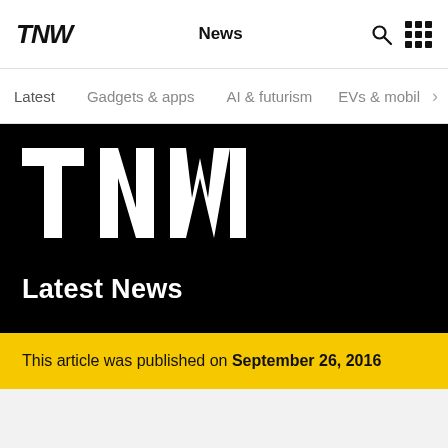TNW — News
Latest  Gadgets & apps  AI & futurism  EVs & mobil >
[Figure (logo): TNW large white logo on black background with 'Latest News' text below]
This article was published on September 26, 2016